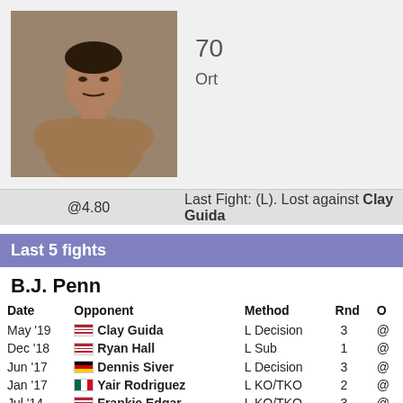[Figure (photo): Fighter photo of BJ Penn, male MMA fighter shown from torso up]
70
Ort
@4.80
Last Fight: (L). Lost against Clay Guida
Last 5 fights
B.J. Penn
| Date | Opponent | Method | Rnd | O |
| --- | --- | --- | --- | --- |
| May '19 | Clay Guida | L Decision | 3 | @ |
| Dec '18 | Ryan Hall | L Sub | 1 | @ |
| Jun '17 | Dennis Siver | L Decision | 3 | @ |
| Jan '17 | Yair Rodriguez | L KO/TKO | 2 | @ |
| Jul '14 | Frankie Edgar | L KO/TKO | 3 | @ |
1199 days since last fight
Betting on B.J. Penn vs Ryan Hall